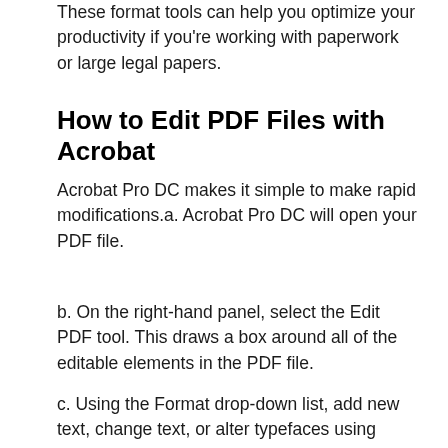These format tools can help you optimize your productivity if you're working with paperwork or large legal papers.
How to Edit PDF Files with Acrobat
Acrobat Pro DC makes it simple to make rapid modifications.a. Acrobat Pro DC will open your PDF file.
b. On the right-hand panel, select the Edit PDF tool. This draws a box around all of the editable elements in the PDF file.
c. Using the Format drop-down list, add new text, change text, or alter typefaces using editing tools.